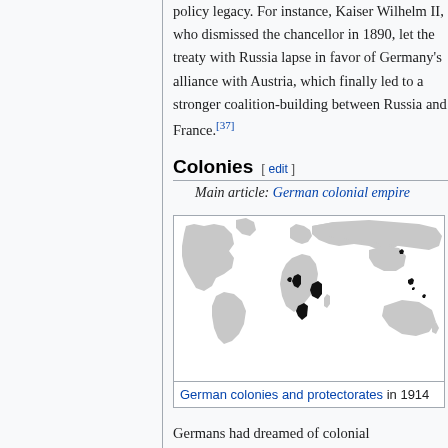policy legacy. For instance, Kaiser Wilhelm II, who dismissed the chancellor in 1890, let the treaty with Russia lapse in favor of Germany's alliance with Austria, which finally led to a stronger coalition-building between Russia and France.[37]
Colonies [ edit ]
Main article: German colonial empire
[Figure (map): World map showing German colonies and protectorates in 1914, highlighted in black on a grey world map.]
German colonies and protectorates in 1914
Germans had dreamed of colonial